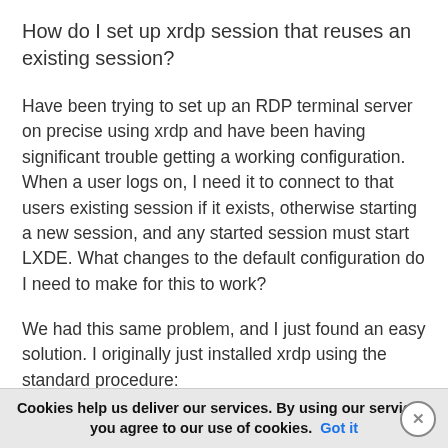How do I set up xrdp session that reuses an existing session?
Have been trying to set up an RDP terminal server on precise using xrdp and have been having significant trouble getting a working configuration. When a user logs on, I need it to connect to that users existing session if it exists, otherwise starting a new session, and any started session must start LXDE. What changes to the default configuration do I need to make for this to work?
We had this same problem, and I just found an easy solution. I originally just installed xrdp using the standard procedure:
Cookies help us deliver our services. By using our services, you agree to our use of cookies. Got it